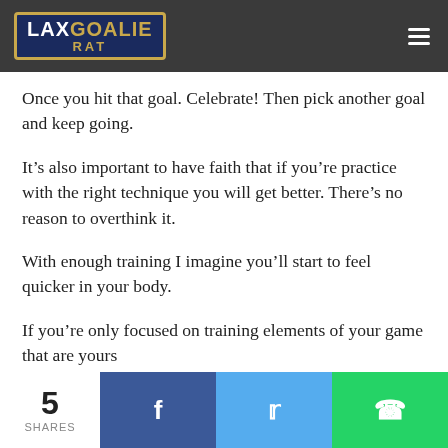Lax Goalie Rat
Once you hit that goal. Celebrate! Then pick another goal and keep going.
It’s also important to have faith that if you’re practice with the right technique you will get better. There’s no reason to overthink it.
With enough training I imagine you’ll start to feel quicker in your body.
If you’re only focused on training elements of your game that are yours
5 SHARES